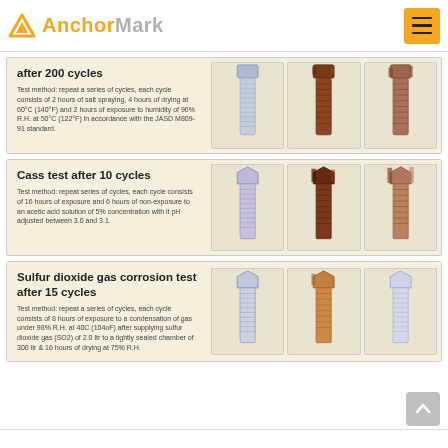AnchorMark
after 200 cycles
Test method: repeat a series of cycles, each cycle consists of 2 hours of salt spraying, 4 hours of drying at 60°C (140°F) and 2 hours of exposure to humidity of 96% R.H. at 50°C (122°F) in accordance with the JASD M809-91 standard.
[Figure (photo): Three hex bolts after 200 salt spray test cycles — left: silver/clean, center: heavily rusted brown, right: heavily corroded with rust]
Cass test after 10 cycles
Test method: repeat series of cycles, each cycle consists of 16 hours of exposure and 6 hours of non-exposure to an acetic acid solution of 5% concentration with it pH adjusted between 3.0 and 3.1.
[Figure (photo): Three hex bolts after Cass test 10 cycles — left: silver/light purple tint, center: dark brown heavily corroded, right: heavily rust covered]
Sulfur dioxide gas corrosion test after 15 cycles
Test method: repeat a series of cycles, each cycle consists of 8 hours of exposure to a condensation of gas under 98% R.H. at 40C (104oF) after supplying sulfur dioxide gas (SO2) of 2.0 ltr to a tightly sealed chamber of 300 ltr & 16 hours of drying at 75% R.H.
[Figure (photo): Three hex bolts after sulfur dioxide gas corrosion test 15 cycles — left: silver/light, center: copper/brown toned, right: silver/clean with slight tint]